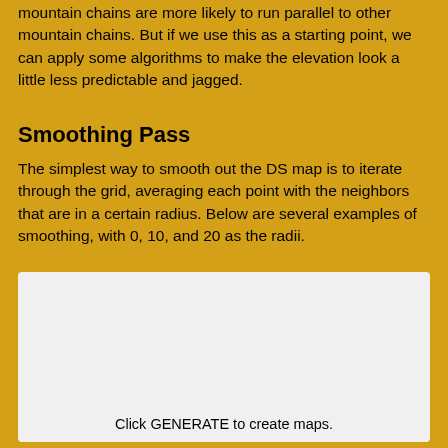mountain chains are more likely to run parallel to other mountain chains. But if we use this as a starting point, we can apply some algorithms to make the elevation look a little less predictable and jagged.
Smoothing Pass
The simplest way to smooth out the DS map is to iterate through the grid, averaging each point with the neighbors that are in a certain radius. Below are several examples of smoothing, with 0, 10, and 20 as the radii.
[Figure (other): A light gray rectangular panel with the text 'Click GENERATE to create maps.' centered near the bottom.]